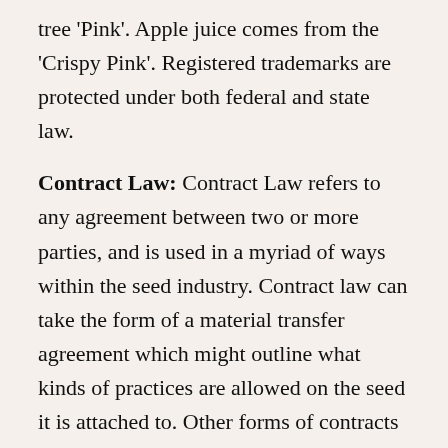tree 'Pink'. Apple juice comes from the 'Crispy Pink'. Registered trademarks are protected under both federal and state law.
Contract Law: Contract Law refers to any agreement between two or more parties, and is used in a myriad of ways within the seed industry. Contract law can take the form of a material transfer agreement which might outline what kinds of practices are allowed on the seed it is attached to. Other forms of contracts include any documents signed by a farmer when purchasing seed that outlines what they are allowed to do with the seed. These contracts tend to be quite restrictive. More recently, contract rules can also apply in the form of a 'bag tag' attached to a seed packet or bag that outlines what can and cannot be done with that seed. Opening of the seed